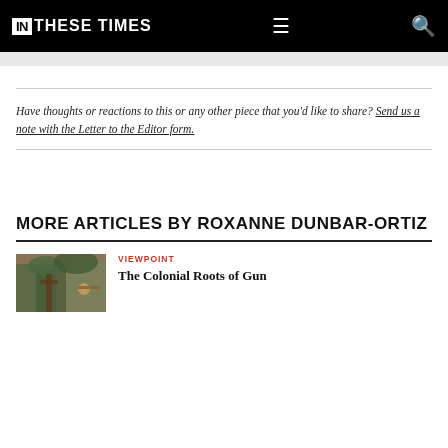IN THESE TIMES
Have thoughts or reactions to this or any other piece that you'd like to share? Send us a note with the Letter to the Editor form.
MORE ARTICLES BY ROXANNE DUNBAR-ORTIZ
VIEWPOINT
The Colonial Roots of Gun